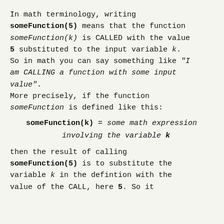In math terminology, writing someFunction(5) means that the function someFunction(k) is CALLED with the value 5 substituted to the input variable k. So in math you can say something like "I am CALLING a function with some input value". More precisely, if the function someFunction is defined like this:
then the result of calling someFunction(5) is to substitute the variable k in the defintion with the value of the CALL, here 5. So it